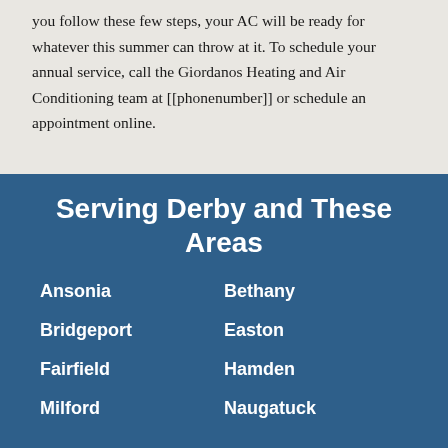you follow these few steps, your AC will be ready for whatever this summer can throw at it. To schedule your annual service, call the Giordanos Heating and Air Conditioning team at [[phonenumber]] or schedule an appointment online.
Serving Derby and These Areas
Ansonia
Bethany
Bridgeport
Easton
Fairfield
Hamden
Milford
Naugatuck